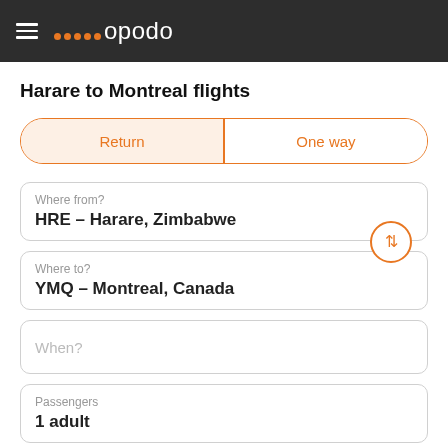opodo
Harare to Montreal flights
Return | One way
Where from?
HRE – Harare, Zimbabwe
Where to?
YMQ – Montreal, Canada
When?
Passengers
1 adult